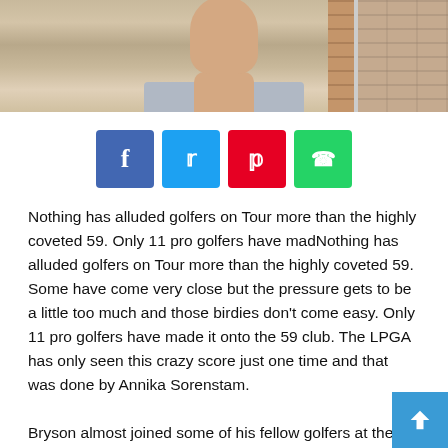[Figure (photo): Photo of a person wearing a light blue/grey striped polo shirt, with a brick wall and window visible in the background. Only the neck and upper torso are visible.]
[Figure (infographic): Row of four social media share buttons: Facebook (blue, f), Twitter (light blue, bird icon), Pinterest (red, p), WhatsApp (green, phone icon)]
Nothing has alluded golfers on Tour more than the highly coveted 59. Only 11 pro golfers have madNothing has alluded golfers on Tour more than the highly coveted 59. Some have come very close but the pressure gets to be a little too much and those birdies don't come easy. Only 11 pro golfers have made it onto the 59 club. The LPGA has only seen this crazy score just one time and that was done by Annika Sorenstam.
Bryson almost joined some of his fellow golfers at the BMW